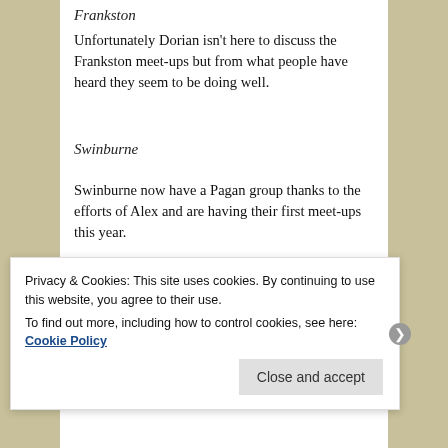Frankston
Unfortunately Dorian isn't here to discuss the Frankston meet-ups but from what people have heard they seem to be doing well.
Swinburne
Swinburne now have a Pagan group thanks to the efforts of Alex and are having their first meet-ups this year.
Druid Coffee
Druid coffee is looking to improve its attendance this year
Privacy & Cookies: This site uses cookies. By continuing to use this website, you agree to their use.
To find out more, including how to control cookies, see here: Cookie Policy